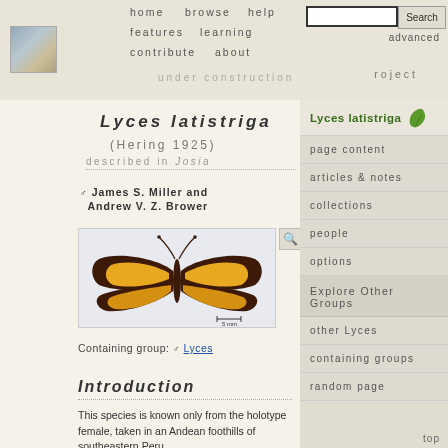home   browse   help   features   learning   contribute   about   roject   under construction
Lyces latistriga
(Hering 1925)
described in Josia
James S. Miller and Andrew V. Z. Brower
[Figure (photo): Specimen photo of Lyces latistriga moth, dorsal view, brown wings with yellow/orange stripes]
Containing group: Lyces
Introduction
This species is known only from the holotype female, taken in an Andean foothills of southeastern Peru.
Lyces latistriga
page content
articles & notes
collections
people
options
Explore Other Groups
other Lyces
containing groups
random page
top